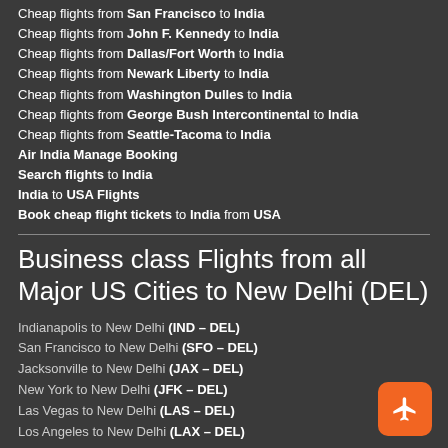Cheap flights from San Francisco to India
Cheap flights from John F. Kennedy to India
Cheap flights from Dallas/Fort Worth to India
Cheap flights from Newark Liberty to India
Cheap flights from Washington Dulles to India
Cheap flights from George Bush Intercontinental to India
Cheap flights from Seattle-Tacoma to India
Air India Manage Booking
Search flights to India
India to USA Flights
Book cheap flight tickets to India from USA
Business class Flights from all Major US Cities to New Delhi (DEL)
Indianapolis to New Delhi (IND – DEL)
San Francisco to New Delhi (SFO – DEL)
Jacksonville to New Delhi (JAX – DEL)
New York to New Delhi (JFK – DEL)
Las Vegas to New Delhi (LAS – DEL)
Los Angeles to New Delhi (LAX – DEL)